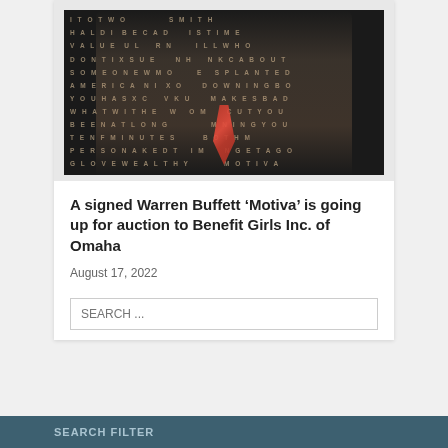[Figure (photo): Photo of Warren Buffett smiling in a dark suit and red tie, overlaid on a word-search grid background with letters in brownish tones on a dark background. Words visible include MOTIVA, WEALTHY, PERSONAKED, GLOVE, TENFMINUTES, BEENATLONGD, WHATWITHEW, YOUHASXC, AMERICANI, SOMEONEWMO, DONTIXSUE, VALUE, HALDI, and others.]
A signed Warren Buffett ‘Motiva’ is going up for auction to Benefit Girls Inc. of Omaha
August 17, 2022
SEARCH ...